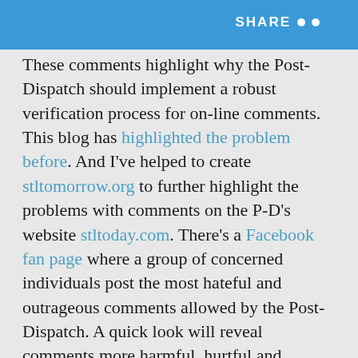SHARE
These comments highlight why the Post-Dispatch should implement a robust verification process for on-line comments. This blog has highlighted the problem before. And I've helped to create stltomorrow.org to further highlight the problems with comments on the P-D's website stltoday.com. There's a Facebook fan page where a group of concerned individuals post the most hateful and outrageous comments allowed by the Post-Dispatch. A quick look will reveal comments more harmful, hurtful and dangerous than “pussy.”
To the issue at hand: Several comments to the P-D blog post question whether Mr. Greenbaum violated the P-D’s online privacy policy, which